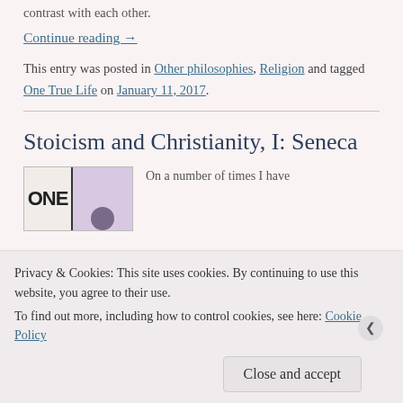contrast with each other.
Continue reading →
This entry was posted in Other philosophies, Religion and tagged One True Life on January 11, 2017.
Stoicism and Christianity, I: Seneca
[Figure (photo): Book cover image with white left side showing 'ONE' text and purple right side with a circular element]
On a number of times I have
Privacy & Cookies: This site uses cookies. By continuing to use this website, you agree to their use.
To find out more, including how to control cookies, see here: Cookie Policy
Close and accept